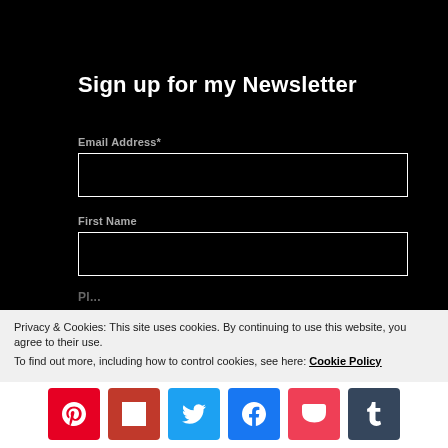Sign up for my Newsletter
Email Address*
First Name
Privacy & Cookies: This site uses cookies. By continuing to use this website, you agree to their use. To find out more, including how to control cookies, see here: Cookie Policy
[Figure (infographic): Social sharing buttons: Pinterest (red), Flipboard (dark red), Twitter (blue), Facebook (blue), Pocket (pink-red), Tumblr (dark slate)]